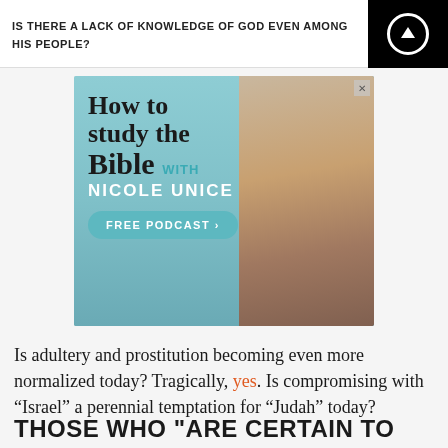IS THERE A LACK OF KNOWLEDGE OF GOD EVEN AMONG HIS PEOPLE?
[Figure (illustration): Advertisement for 'How to study the Bible with Nicole Unice' free podcast, showing a woman smiling with the podcast title overlaid on a teal/blue background]
Is adultery and prostitution becoming even more normalized today? Tragically, yes. Is compromising with “Israel” a perennial temptation for “Judah” today?
THOSE WHO "ARE CERTAIN TO MISS